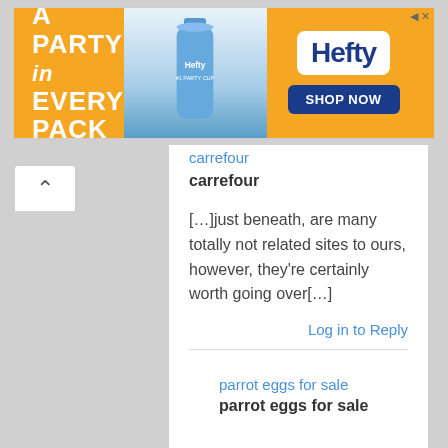[Figure (screenshot): Hefty brand advertisement banner with orange background. Text reads 'A PARTY in EVERY PACK' with a Hefty Party Cup bottle image and a 'SHOP NOW' button on a blue Hefty logo box.]
carrefour
carrefour
[…]just beneath, are many totally not related sites to ours, however, they're certainly worth going over[…]
Log in to Reply
parrot eggs for sale
parrot eggs for sale